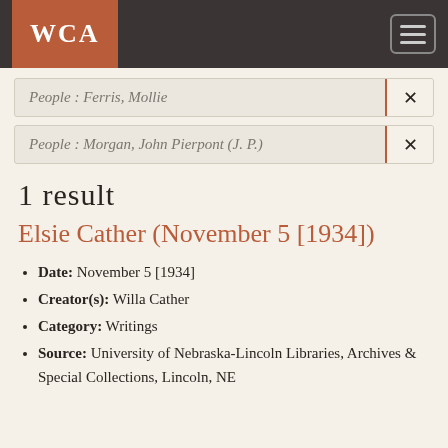WCA
People : Ferris, Mollie  ×
People : Morgan, John Pierpont (J. P.)  ×
1 result
Elsie Cather (November 5 [1934])
Date: November 5 [1934]
Creator(s): Willa Cather
Category: Writings
Source: University of Nebraska-Lincoln Libraries, Archives & Special Collections, Lincoln, NE